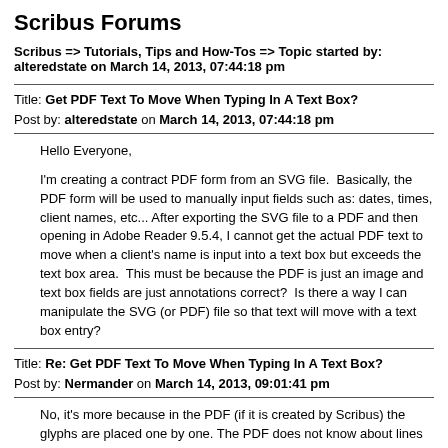Scribus Forums
Scribus => Tutorials, Tips and How-Tos => Topic started by: alteredstate on March 14, 2013, 07:44:18 pm
Title: Get PDF Text To Move When Typing In A Text Box?
Post by: alteredstate on March 14, 2013, 07:44:18 pm
Hello Everyone,

I'm creating a contract PDF form from an SVG file.  Basically, the PDF form will be used to manually input fields such as: dates, times, client names, etc... After exporting the SVG file to a PDF and then opening in Adobe Reader 9.5.4, I cannot get the actual PDF text to move when a client's name is input into a text box but exceeds the text box area.  This must be because the PDF is just an image and text box fields are just annotations correct?  Is there a way I can manipulate the SVG (or PDF) file so that text will move with a text box entry?
Title: Re: Get PDF Text To Move When Typing In A Text Box?
Post by: Nermander on March 14, 2013, 09:01:41 pm
No, it's more because in the PDF (if it is created by Scribus) the glyphs are placed one by one. The PDF does not know about lines or text frames (except the form fields).